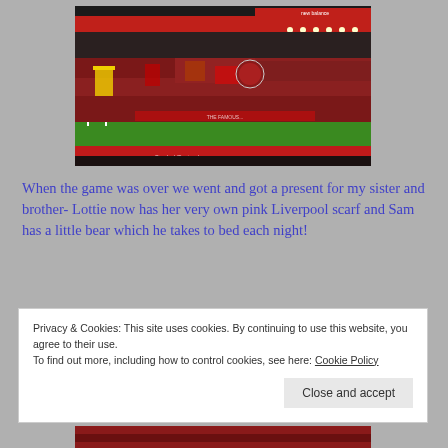[Figure (photo): Aerial view of a packed football stadium (Anfield) with fans holding red scarves and flags on the pitch side stands, with floodlights and advertising hoardings including New Balance visible at the top.]
When the game was over we went and got a present for my sister and brother- Lottie now has her very own pink Liverpool scarf and Sam has a little bear which he takes to bed each night!
Privacy & Cookies: This site uses cookies. By continuing to use this website, you agree to their use.
To find out more, including how to control cookies, see here: Cookie Policy
[Figure (photo): Partial view of another stadium or crowd photo at the very bottom of the page, mostly cut off.]